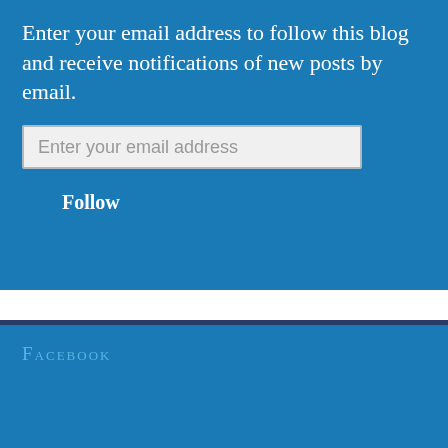Enter your email address to follow this blog and receive notifications of new posts by email.
Enter your email address
Follow
Facebook